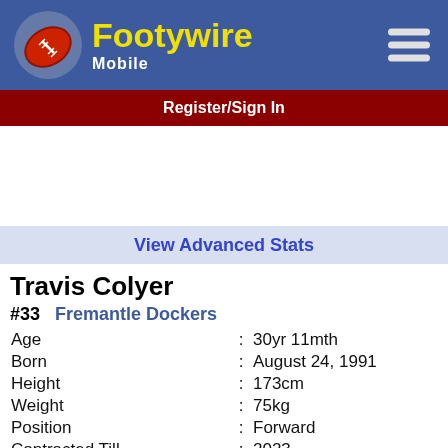[Figure (logo): Footywire Mobile logo with red AFL football icon]
Register/Sign In
View Advanced Stats
Travis Colyer
#33   Fremantle Dockers
| Age | : | 30yr 11mth |
| Born | : | August 24, 1991 |
| Height | : | 173cm |
| Weight | : | 75kg |
| Position | : | Forward |
| Contracted Till | : | 2023 |
| Supercoach Price | : | $258,900 |
| AFL Fantasy Price | : | $386,000 |